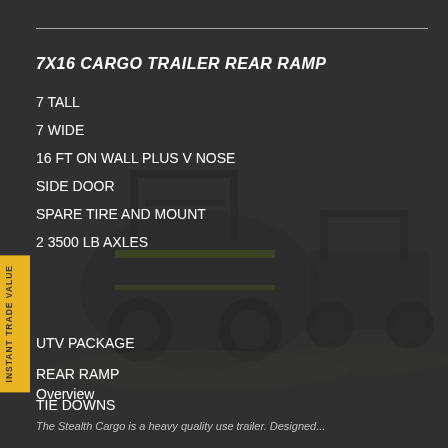7X16 CARGO TRAILER REAR RAMP
7 TALL
7 WIDE
16 FT ON WALL PLUS V NOSE
SIDE DOOR
SPARE TIRE AND MOUNT
2 3500 LB AXLES
UTV PACKAGE
REAR RAMP
TIE DOWNS
Overview
The Stealth Cargo is a heavy quality use trailer. Designed...